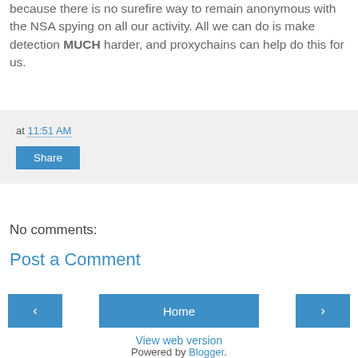because there is no surefire way to remain anonymous with the NSA spying on all our activity. All we can do is make detection MUCH harder, and proxychains can help do this for us.
at 11:51 AM
Share
No comments:
Post a Comment
‹
Home
›
View web version
Powered by Blogger.